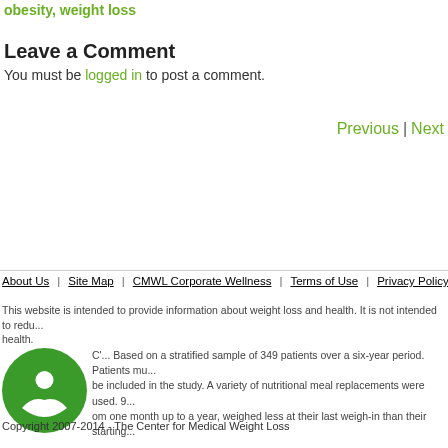obesity, weight loss
Leave a Comment
You must be logged in to post a comment.
Previous | Next
About Us  Site Map  CMWL Corporate Wellness  Terms of Use  Privacy Policy  Editor...
This website is intended to provide information about weight loss and health. It is not intended to redu... health.
Based on a stratified sample of 349 patients over a six-year period. Patients mu... be included in the study. A variety of nutritional meal replacements were used. 9... om one month up to a year, weighed less at their last weigh-in than their starting...
Copyright 2007-2014 - The Center for Medical Weight Loss